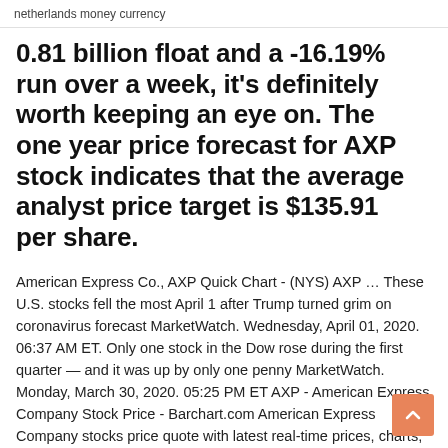netherlands money currency
0.81 billion float and a -16.19% run over a week, it's definitely worth keeping an eye on. The one year price forecast for AXP stock indicates that the average analyst price target is $135.91 per share.
American Express Co., AXP Quick Chart - (NYS) AXP … These U.S. stocks fell the most April 1 after Trump turned grim on coronavirus forecast MarketWatch. Wednesday, April 01, 2020. 06:37 AM ET. Only one stock in the Dow rose during the first quarter — and it was up by only one penny MarketWatch. Monday, March 30, 2020. 05:25 PM ET AXP - American Express Company Stock Price - Barchart.com American Express Company stocks price quote with latest real-time prices, charts, financials, latest news, technical analysis and opinions.